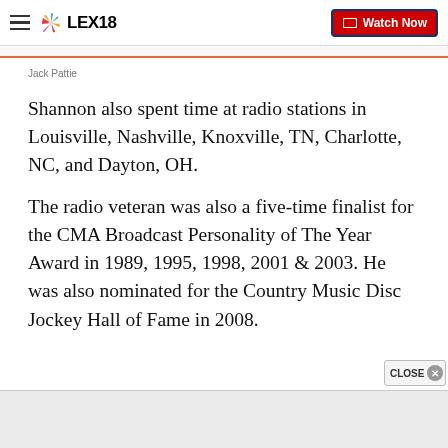LEX18 | Watch Now
Jack Pattie
Shannon also spent time at radio stations in Louisville, Nashville, Knoxville, TN, Charlotte, NC, and Dayton, OH.
The radio veteran was also a five-time finalist for the CMA Broadcast Personality of The Year Award in 1989, 1995, 1998, 2001 & 2003. He was also nominated for the Country Music Disc Jockey Hall of Fame in 2008.